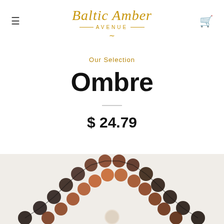Baltic Amber Avenue
Our Selection
Ombre
$ 24.79
[Figure (photo): Photo of ombre Baltic amber bead necklaces/bracelets arranged in an arch shape, showing beads transitioning from dark black/brown at the ends to amber/caramel in the middle and a light/white bead at the bottom center.]